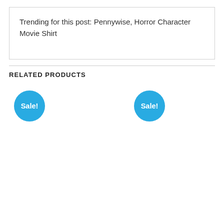Trending for this post: Pennywise, Horror Character Movie Shirt
RELATED PRODUCTS
[Figure (other): Two product thumbnails with blue Sale! badges. Left badge is positioned at upper-left of first product slot, right badge is positioned at upper-left of second product slot.]